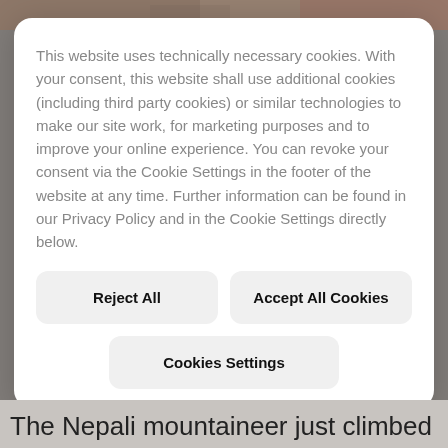[Figure (photo): Background photo of people, partially visible at top and bottom behind a cookie consent modal overlay]
This website uses technically necessary cookies. With your consent, this website shall use additional cookies (including third party cookies) or similar technologies to make our site work, for marketing purposes and to improve your online experience. You can revoke your consent via the Cookie Settings in the footer of the website at any time. Further information can be found in our Privacy Policy and in the Cookie Settings directly below.
Reject All
Accept All Cookies
Cookies Settings
The Nepali mountaineer just climbed